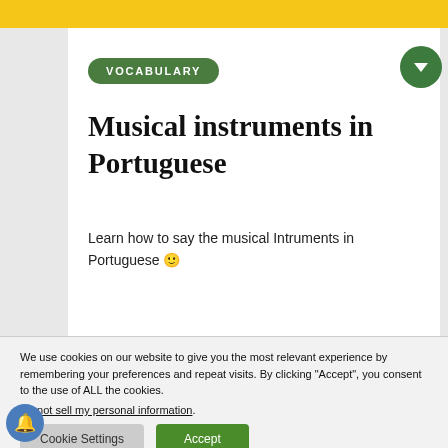VOCABULARY
Musical instruments in Portuguese
Learn how to say the musical Intruments in Portuguese 🙂
We use cookies on our website to give you the most relevant experience by remembering your preferences and repeat visits. By clicking "Accept", you consent to the use of ALL the cookies.
Do not sell my personal information.